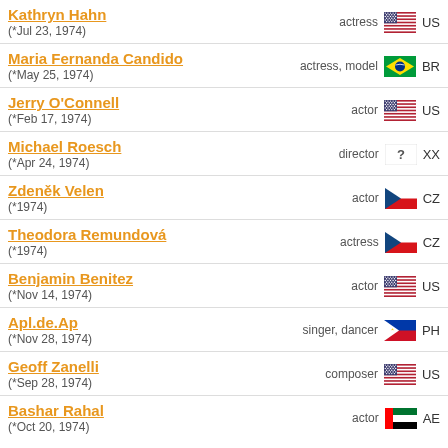Kathryn Hahn (*Jul 23, 1974) actress US
Maria Fernanda Candido (*May 25, 1974) actress, model BR
Jerry O'Connell (*Feb 17, 1974) actor US
Michael Roesch (*Apr 24, 1974) director XX
Zdeněk Velen (*1974) actor CZ
Theodora Remundová (*1974) actress CZ
Benjamin Benitez (*Nov 14, 1974) actor US
Apl.de.Ap (*Nov 28, 1974) singer, dancer PH
Geoff Zanelli (*Sep 28, 1974) composer US
Bashar Rahal (*Oct 20, 1974) actor AE